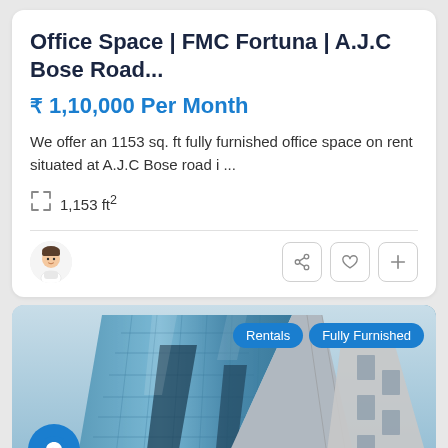Office Space | FMC Fortuna | A.J.C Bose Road...
₹ 1,10,000 Per Month
We offer an 1153 sq. ft fully furnished office space on rent situated at A.J.C Bose road i ...
1,153 ft²
[Figure (photo): Photo of FMC Fortuna office building on A.J.C Bose Road, a modern glass-facade building photographed from below at an angle. Tags shown: Rentals, Fully Furnished.]